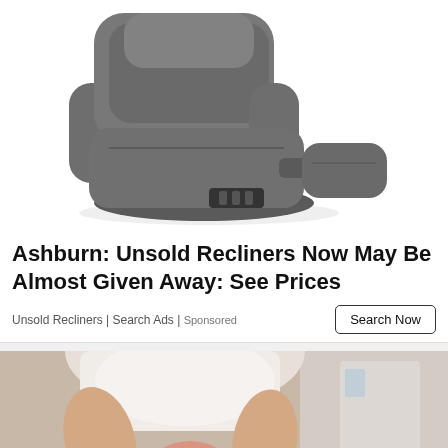[Figure (photo): A dark gray recliner chair shown at an angle with footrest extended, on white background]
Ashburn: Unsold Recliners Now May Be Almost Given Away: See Prices
Unsold Recliners | Search Ads | Sponsored
[Figure (photo): A person sitting and holding their knee which appears inflamed/red, indicating knee pain, with a blurred bathroom background]